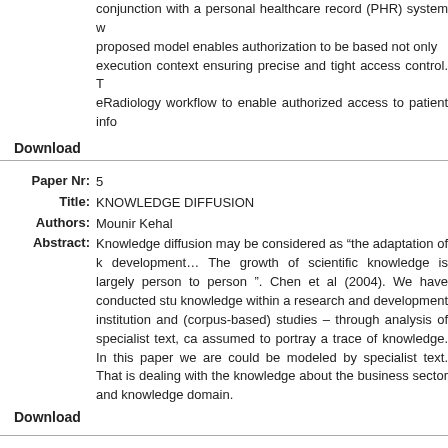conjunction with a personal healthcare record (PHR) system w proposed model enables authorization to be based not only execution context ensuring precise and tight access control. T eRadiology workflow to enable authorized access to patient info
Download
Paper Nr: 5
Title: KNOWLEDGE DIFFUSION
Authors: Mounir Kehal
Abstract: Knowledge diffusion may be considered as “the adaptation of k development… The growth of scientific knowledge is largely person to person ”. Chen et al (2004). We have conducted stu knowledge within a research and development institution and (corpus-based) studies – through analysis of specialist text, ca assumed to portray a trace of knowledge. In this paper we are could be modeled by specialist text. That is dealing with the knowledge about the business sector and knowledge domain.
Download
Paper Nr: 18
Title: A NEW FRAMEWORK FOR THE CONTROL OF LMS IN ITS
Authors: Veronica Amela, José Luis Diez and Marina Valles
Abstract: Intelligent Tutoring Systems (ITS) offer an automatically perso knowledge and skills in a more effective way than with traditio and time freedom to the student thanks to Internet facilities. M